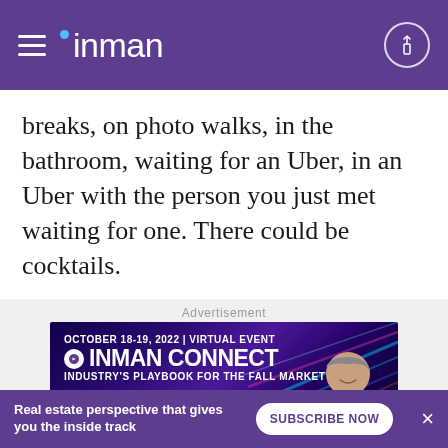inman
breaks, on photo walks, in the bathroom, waiting for an Uber, in an Uber with the person you just met waiting for one. There could be cocktails.
Advertisement
[Figure (infographic): Inman Connect advertisement banner. October 18-19, 2022 | Virtual Event. Inman Connect. Industry's Playbook for the Fall Market. Featuring Guest Speaker Gary Keller, Keller Williams.]
Real estate perspective that gives you the inside track   SUBSCRIBE NOW